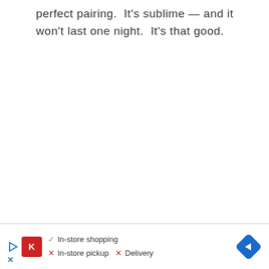perfect pairing.  It's sublime — and it won't last one night.  It's that good.
[Figure (infographic): Footer advertisement bar with Kroger logo, play icon, blue X icon, checkmark and X marks for In-store shopping, In-store pickup, Delivery, and a blue navigation arrow diamond icon]